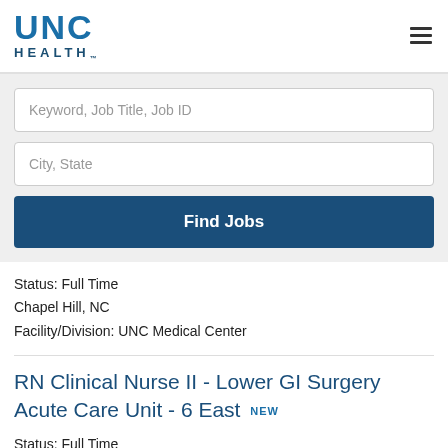[Figure (logo): UNC Health logo - blue text]
Keyword, Job Title, Job ID
City, State
Find Jobs
Status: Full Time
Chapel Hill, NC
Facility/Division: UNC Medical Center
RN Clinical Nurse II - Lower GI Surgery Acute Care Unit - 6 East NEW
Status: Full Time
Chapel Hill, NC